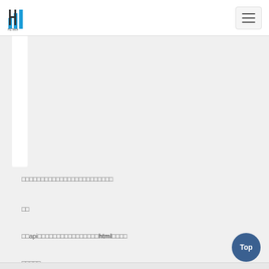HZTech logo and hamburger menu
[Figure (screenshot): White card/sidebar panel visible on left side]
□□□□□□□□□□□□□□□□□□□□□□□□
□□
□□api□□□□□□□□□□□□□□□□html□□□□
□□□□□
□□□□□□□wxapp-rich-text□□□□□□□□□□□□□html□□□□□□□□□□□
git□□□